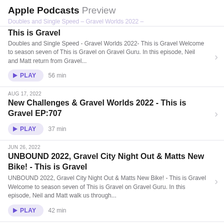Apple Podcasts Preview
Doubles and Single Speed – Gravel Worlds 2022 –
This is Gravel
Doubles and Single Speed - Gravel Worlds 2022- This is Gravel Welcome to season seven of This is Gravel on Gravel Guru. In this episode, Neil and Matt return from Gravel...
PLAY  56 min
AUG 17, 2022
New Challenges & Gravel Worlds 2022 - This is Gravel EP:707
PLAY  37 min
JUN 26, 2022
UNBOUND 2022, Gravel City Night Out & Matts New Bike! - This is Gravel
UNBOUND 2022, Gravel City Night Out & Matts New Bike! - This is Gravel Welcome to season seven of This is Gravel on Gravel Guru. In this episode, Neil and Matt walk us through...
PLAY  42 min